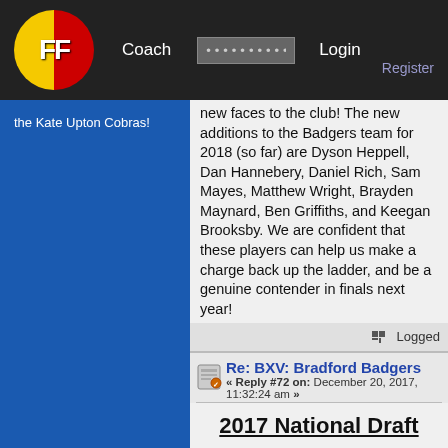FF [logo] Coach ......... Login Register
the Kate Upton Cobras!
new faces to the club! The new additions to the Badgers team for 2018 (so far) are Dyson Heppell, Dan Hannebery, Daniel Rich, Sam Mayes, Matthew Wright, Brayden Maynard, Ben Griffiths, and Keegan Brooksby. We are confident that these players can help us make a charge back up the ladder, and be a genuine contender in finals next year!
Logged
Re: BXV: Bradford Badgers
« Reply #72 on: December 20, 2017, 11:32:24 am »
2017 National Draft
Pick 8 - Jaidyn Stephenson